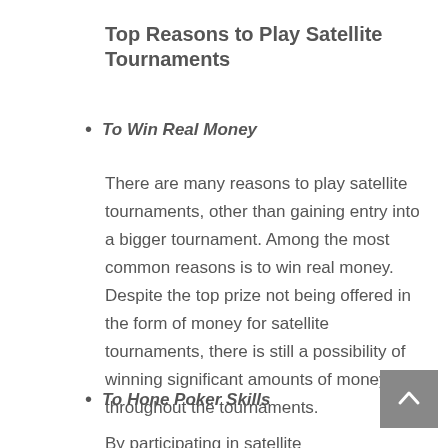Top Reasons to Play Satellite Tournaments
To Win Real Money
There are many reasons to play satellite tournaments, other than gaining entry into a bigger tournament. Among the most common reasons is to win real money. Despite the top prize not being offered in the form of money for satellite tournaments, there is still a possibility of winning significant amounts of money throughout the tournaments.
To Hone Poker Skills
By participating in satellite